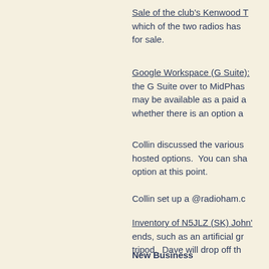Sale of the club's Kenwood T which of the two radios has for sale.
Google Workspace (G Suite): the G Suite over to MidPhase may be available as a paid a whether there is an option a
Collin discussed the various hosted options.  You can sha option at this point.
Collin set up a @radioham.c
Inventory of N5JLZ (SK) John' ends, such as an artificial gr tripod.  Dave will drop off th
There is nothing to report at
New Business